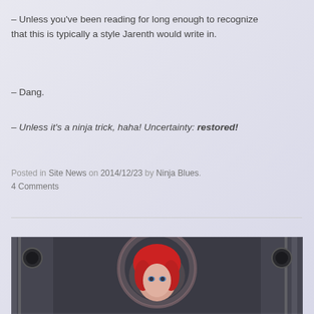– Unless you've been reading for long enough to recognize that this is typically a style Jarenth would write in.
– Dang.
– Unless it's a ninja trick, haha! Uncertainty: restored!
Posted in Site News on 2014/12/23 by Ninja Blues. 4 Comments
[Figure (photo): A 3D rendered female character with red/pink hair, facing forward, with a glowing halo/ring behind her head, set against a dark metallic sci-fi background with circular speaker-like elements.]